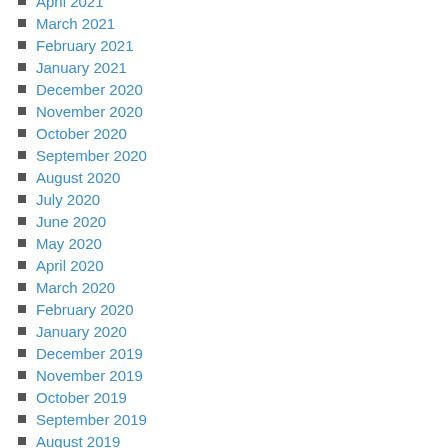April 2021
March 2021
February 2021
January 2021
December 2020
November 2020
October 2020
September 2020
August 2020
July 2020
June 2020
May 2020
April 2020
March 2020
February 2020
January 2020
December 2019
November 2019
October 2019
September 2019
August 2019
July 2019
June 2019
May 2019
April 2019
March 2019